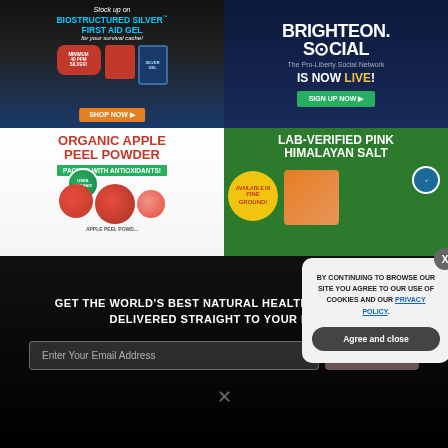[Figure (illustration): Advertisement for Biostructured Silver First Aid Gel - 'Stock up on Biostructured Silver First Aid Gel for your survival cache!' with product images and orange SHOP NOW button]
[Figure (illustration): Advertisement for Brighteon.Social - 'The Pro-Liberty Social Network IS NOW LIVE!' with green SIGN UP NOW button on dark blue background]
[Figure (illustration): Advertisement for Organic Apple Peel Powder - 'PACKED WITH ANTIOXIDANTS!' with USDA Organic badge and apple images]
[Figure (illustration): Advertisement for Lab-Verified Pink Himalayan Salt - 'AVAILABLE IN FINE GROUND!' on green background with salt bag image]
GET THE WORLD'S BEST NATURAL HEALTH NEWSLETTER DELIVERED STRAIGHT TO YOUR INBOX
Enter Your Email Address
SUBSCRIBE
BY CONTINUING TO BROWSE OUR SITE YOU AGREE TO OUR USE OF COOKIES AND OUR PRIVACY POLICY.
Agree and close